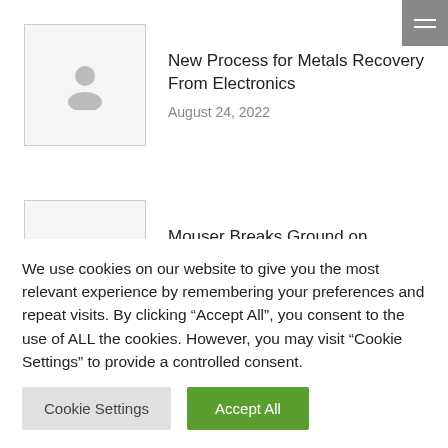[Figure (screenshot): Thumbnail placeholder image with gray person silhouette icon for article 1]
New Process for Metals Recovery From Electronics
August 24, 2022
[Figure (screenshot): Thumbnail placeholder image with gray person silhouette icon for article 2]
Mouser Breaks Ground on Warehouse Expansion
August 24, 2022
We use cookies on our website to give you the most relevant experience by remembering your preferences and repeat visits. By clicking “Accept All”, you consent to the use of ALL the cookies. However, you may visit “Cookie Settings” to provide a controlled consent.
Cookie Settings
Accept All